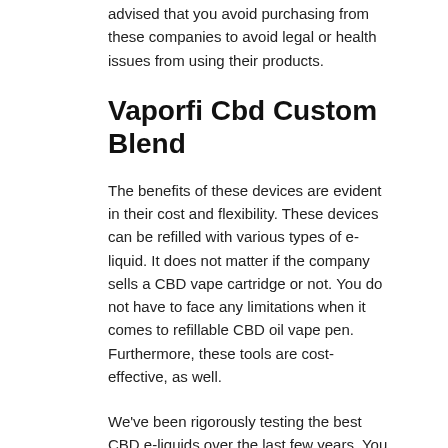advised that you avoid purchasing from these companies to avoid legal or health issues from using their products.
Vaporfi Cbd Custom Blend
The benefits of these devices are evident in their cost and flexibility. These devices can be refilled with various types of e-liquid. It does not matter if the company sells a CBD vape cartridge or not. You do not have to face any limitations when it comes to refillable CBD oil vape pen. Furthermore, these tools are cost-effective, as well.
We've been rigorously testing the best CBD e-liquids over the last few years. You will obviously need some type of device for vaping. If you already own a regular vape tank for e-liquid, you can also use it for CBD vape juice. Or you can purchase a separate device for CBD so you can continue using your regular nicotine-based